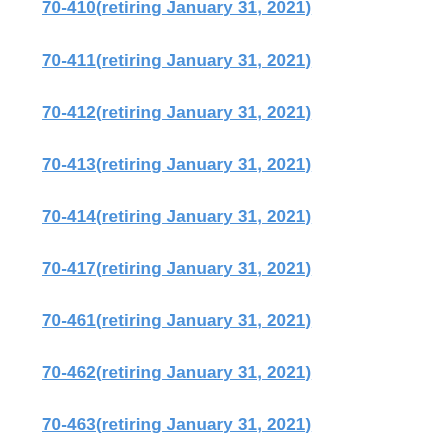70-410(retiring January 31, 2021)
70-411(retiring January 31, 2021)
70-412(retiring January 31, 2021)
70-413(retiring January 31, 2021)
70-414(retiring January 31, 2021)
70-417(retiring January 31, 2021)
70-461(retiring January 31, 2021)
70-462(retiring January 31, 2021)
70-463(retiring January 31, 2021)